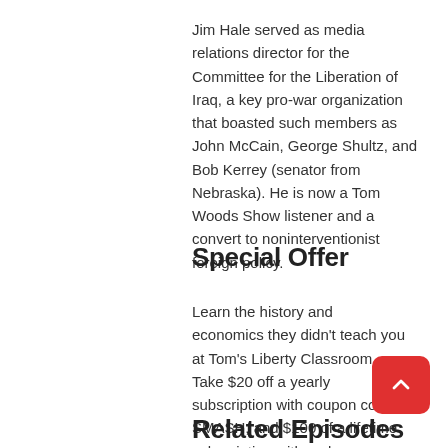Jim Hale served as media relations director for the Committee for the Liberation of Iraq, a key pro-war organization that boasted such members as John McCain, George Shultz, and Bob Kerrey (senator from Nebraska). He is now a Tom Woods Show listener and a convert to noninterventionist foreign policy.
Special Offer
Learn the history and economics they didn't teach you at Tom's Liberty Classroom. Take $20 off a yearly subscription with coupon code SMASH, and $100 of a lifetime subscription with code MASTERY (codes must be entered in all caps). Click here to check it out.
Related Episodes